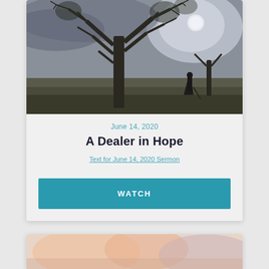[Figure (illustration): A dark monochromatic landscape painting showing a large bare tree against a misty sky with moonlight, and a solitary figure standing in an open field]
June 14, 2020
A Dealer in Hope
Text for June 14, 2020 Sermon
WATCH
[Figure (illustration): Partial view of a second card with a warm-toned image at the bottom of the page]